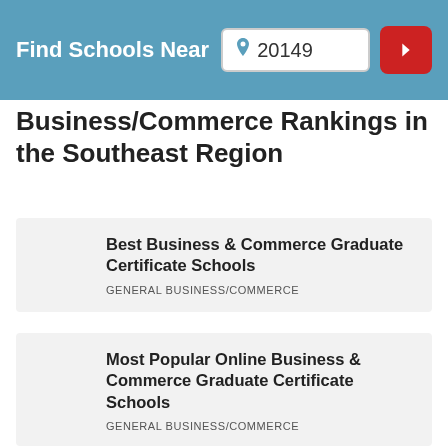Find Schools Near 20149
Business/Commerce Rankings in the Southeast Region
Best Business & Commerce Graduate Certificate Schools
GENERAL BUSINESS/COMMERCE
Most Popular Online Business & Commerce Graduate Certificate Schools
GENERAL BUSINESS/COMMERCE
Most Popular Business & Commerce Graduate Certificate Schools
GENERAL BUSINESS/COMMERCE